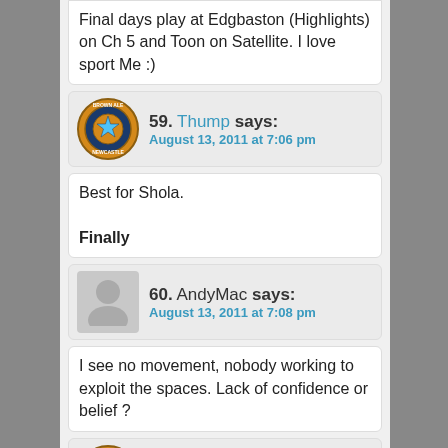Final days play at Edgbaston (Highlights) on Ch 5 and Toon on Satellite. I love sport Me :)
59. Thump says:
August 13, 2011 at 7:06 pm
Best for Shola.

Finally
60. AndyMac says:
August 13, 2011 at 7:08 pm
I see no movement, nobody working to exploit the spaces. Lack of confidence or belief ?
61. Thump says: